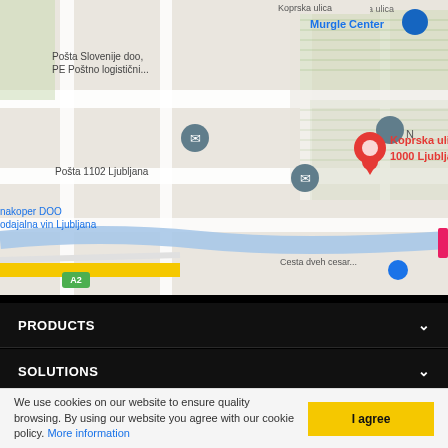[Figure (map): Google Maps screenshot showing a location pin at Koprska ulica 98, 1000 Ljubljana, Slovenia. Nearby landmarks include Murgle Center, Pošta Slovenije doo PE Poštno logistični..., Pošta 1102 Ljubljana, nakoper DOO odajalna vin Ljubljana, and CDP N. Street labels include Koprska ulica, V Murglah, Cesta dveh cesar-, and highway A2.]
PRODUCTS
SOLUTIONS
FOLLOW US
We use cookies on our website to ensure quality browsing. By using our website you agree with our cookie policy. More information